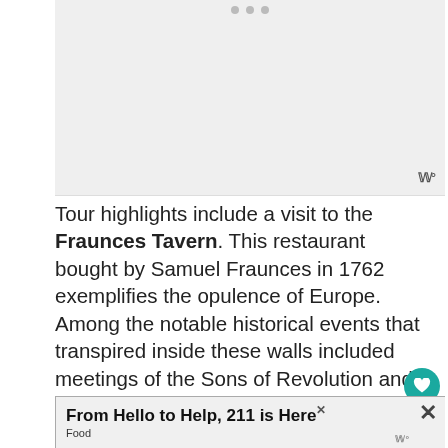[Figure (photo): Gray placeholder image area with carousel dots at top and wordmark at bottom right]
Tour highlights include a visit to the Fraunces Tavern. This restaurant bought by Samuel Fraunces in 1762 exemplifies the opulence of Europe. Among the notable historical events that transpired inside these walls included meetings of the Sons of Revolution and the g[ather] where Washington bade farewell to his officers on December 4, 1783. Having a h[istory]...
[Figure (infographic): WHAT'S NEXT arrow label with star icon and text: Searching for Stars in...]
[Figure (infographic): Advertisement banner: From Hello to Help, 211 is Here. Food]